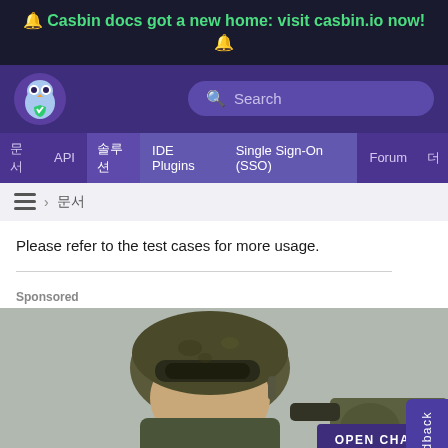🔔 Casbin docs got a new home: visit casbin.io now! 🔔
[Figure (logo): Casbin owl logo with green shield on purple navigation header with search bar]
문서  API  솔루션  IDE Plugins  Single Sign-On (SSO)  Forum  더
Please refer to the test cases for more usage.
Sponsored
[Figure (photo): Soldier in military camouflage gear with helmet and tactical equipment looking through scope]
OPEN CHAT